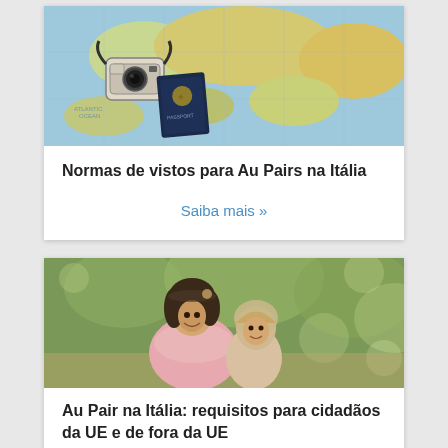[Figure (photo): World map with passport and vintage camera on top]
Normas de vistos para Au Pairs na Itália
Saiba mais »
[Figure (photo): Young woman smiling holding a small child in a park]
Au Pair na Itália: requisitos para cidadãos da UE e de fora da UE